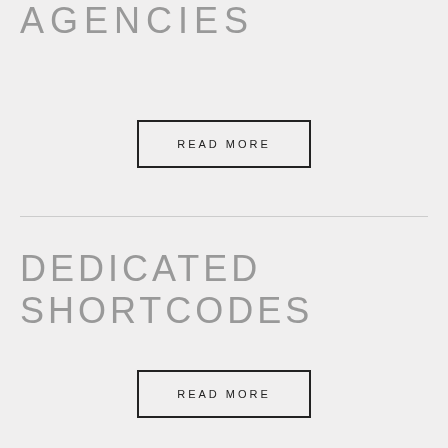AGENCIES
READ MORE
DEDICATED SHORTCODES
READ MORE